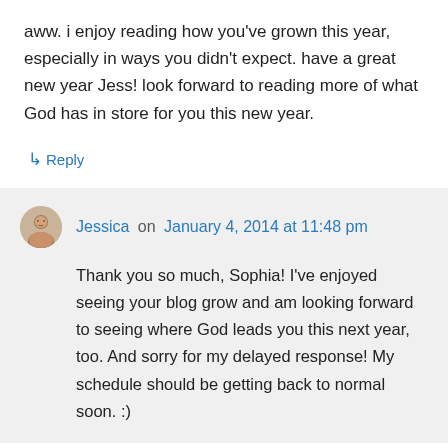aww. i enjoy reading how you've grown this year, especially in ways you didn't expect. have a great new year Jess! look forward to reading more of what God has in store for you this new year.
↳ Reply
Jessica on January 4, 2014 at 11:48 pm
Thank you so much, Sophia! I've enjoyed seeing your blog grow and am looking forward to seeing where God leads you this next year, too. And sorry for my delayed response! My schedule should be getting back to normal soon. :)